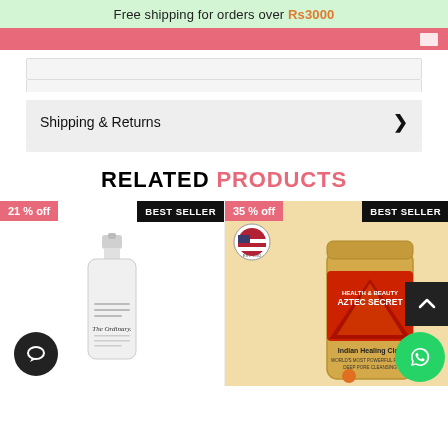Free shipping for orders over Rs3000
Shipping & Returns
RELATED PRODUCTS
[Figure (photo): Product card: The Ordinary serum bottle with 21% off badge and BEST SELLER label]
[Figure (photo): Product card: Indian Healing Clay Aztec Secret product bag with 35% off badge and BEST SELLER label, USA seal badge, WhatsApp icon, and scroll-up button]